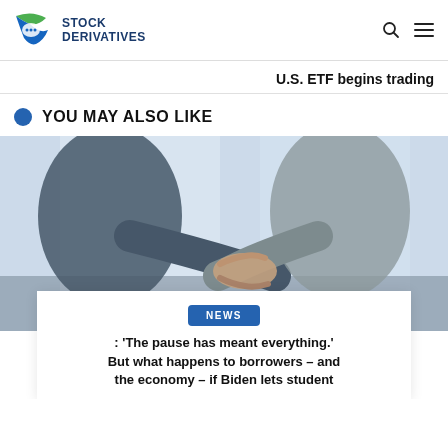STOCK DERIVATIVES
U.S. ETF begins trading
YOU MAY ALSO LIKE
[Figure (photo): Two people in business attire shaking hands in an office setting, blurred background with large windows.]
NEWS
: 'The pause has meant everything.' But what happens to borrowers – and the economy – if Biden lets student